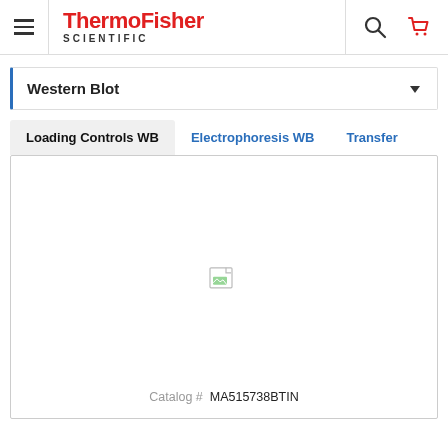ThermoFisher SCIENTIFIC
Western Blot
Loading Controls WB | Electrophoresis WB | Transfer
[Figure (photo): Product image placeholder (broken image icon) inside a white card]
Catalog # MA515738BTIN